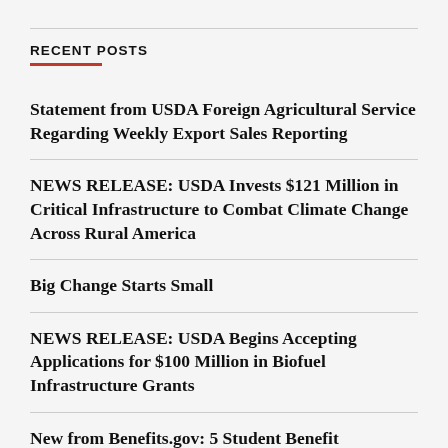RECENT POSTS
Statement from USDA Foreign Agricultural Service Regarding Weekly Export Sales Reporting
NEWS RELEASE: USDA Invests $121 Million in Critical Infrastructure to Combat Climate Change Across Rural America
Big Change Starts Small
NEWS RELEASE: USDA Begins Accepting Applications for $100 Million in Biofuel Infrastructure Grants
New from Benefits.gov: 5 Student Benefit